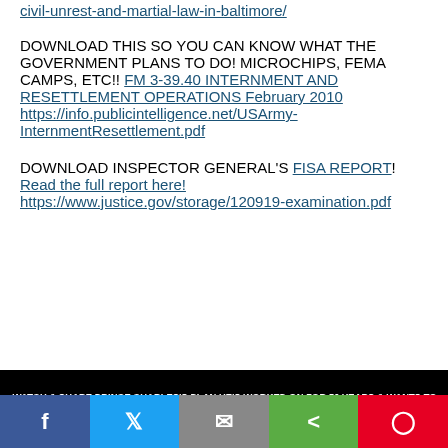civil-unrest-and-martial-law-in-baltimore/
DOWNLOAD THIS SO YOU CAN KNOW WHAT THE GOVERNMENT PLANS TO DO! MICROCHIPS, FEMA CAMPS, ETC!! FM 3-39.40 INTERNMENT AND RESETTLEMENT OPERATIONS February 2010 https://info.publicintelligence.net/USArmy-InternmentResettlement.pdf
DOWNLOAD INSPECTOR GENERAL'S FISA REPORT! Read the full report here! https://www.justice.gov/storage/120919-examination.pdf
[Figure (screenshot): Black banner image with white bold italic text: WATCH & SHARE PRINCE CHARLES'S PLAN HE'S WORKED ON FOR 50 YEARS & WANTS TO SET IN PLAY AT THE DAVOS 2021 SUMMIT IN JANUARY 2021! IT'S CALLED 'THE GREAT RESET'!]
[Figure (infographic): Social media sharing bar with Facebook, Twitter, email, share, and Pinterest buttons]